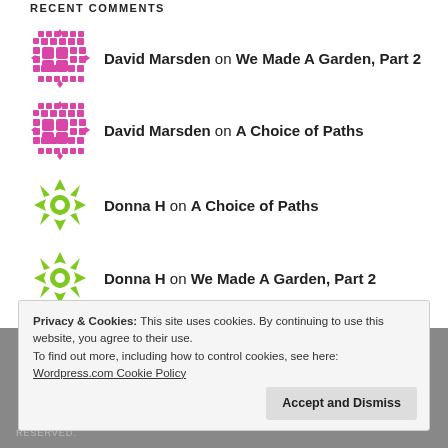RECENT COMMENTS
David Marsden on We Made A Garden, Part 2
David Marsden on A Choice of Paths
Donna H on A Choice of Paths
Donna H on We Made A Garden, Part 2
David Marsden on Echium pininana
Privacy & Cookies: This site uses cookies. By continuing to use this website, you agree to their use.
To find out more, including how to control cookies, see here:
Wordpress.com Cookie Policy
RESERVED.